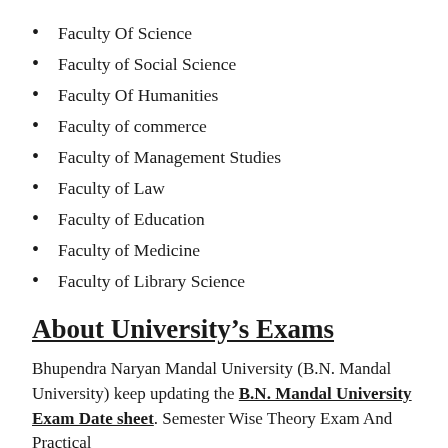Faculty Of Science
Faculty of Social Science
Faculty Of Humanities
Faculty of commerce
Faculty of Management Studies
Faculty of Law
Faculty of Education
Faculty of Medicine
Faculty of Library Science
About University’s Exams
Bhupendra Naryan Mandal University (B.N. Mandal University) keep updating the B.N. Mandal University Exam Date sheet. Semester Wise Theory Exam And Practical